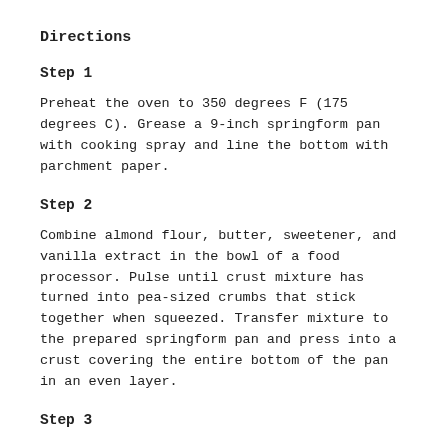Directions
Step 1
Preheat the oven to 350 degrees F (175 degrees C). Grease a 9-inch springform pan with cooking spray and line the bottom with parchment paper.
Step 2
Combine almond flour, butter, sweetener, and vanilla extract in the bowl of a food processor. Pulse until crust mixture has turned into pea-sized crumbs that stick together when squeezed. Transfer mixture to the prepared springform pan and press into a crust covering the entire bottom of the pan in an even layer.
Step 3